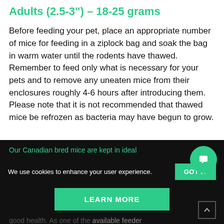Adults (2.5-3") – 18-25 grams
Before feeding your pet, place an appropriate number of mice for feeding in a ziplock bag and soak the bag in warm water until the rodents have thawed. Remember to feed only what is necessary for your pets and to remove any uneaten mice from their enclosures roughly 4-6 hours after introducing them. Please note that it is not recommended that thawed mice be refrozen as bacteria may have begun to grow.
We use cookies to enhance your user experience. GOT IT LEARN MORE Our Canadian bred mice are kept in ideal conditions to ensure their nutritional and good health. As one of the available feeder options, feeder mice are most convenient and